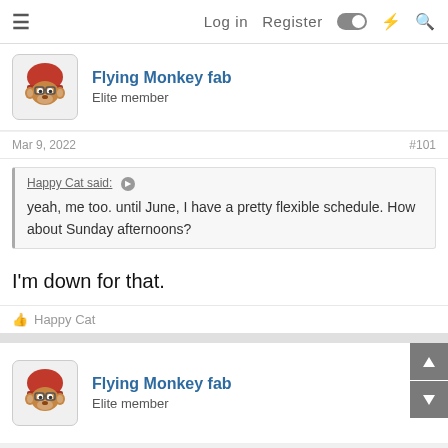Log in  Register
Flying Monkey fab
Elite member
Mar 9, 2022  #101
Happy Cat said:
yeah, me too. until June, I have a pretty flexible schedule. How about Sunday afternoons?
I'm down for that.
👍 Happy Cat
Flying Monkey fab
Elite member